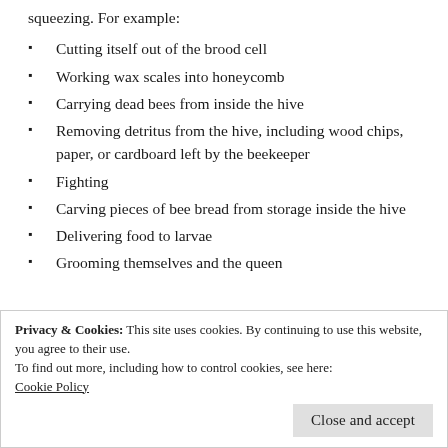squeezing. For example:
Cutting itself out of the brood cell
Working wax scales into honeycomb
Carrying dead bees from inside the hive
Removing detritus from the hive, including wood chips, paper, or cardboard left by the beekeeper
Fighting
Carving pieces of bee bread from storage inside the hive
Delivering food to larvae
Grooming themselves and the queen
Privacy & Cookies: This site uses cookies. By continuing to use this website, you agree to their use.
To find out more, including how to control cookies, see here: Cookie Policy
Working propolis into hive cracks and